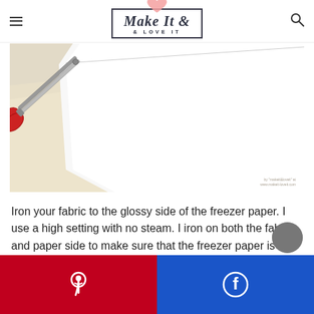Make It & LOVE IT
[Figure (photo): Scissors cutting along the edge of white freezer paper placed on cream fabric, on a cutting mat]
Iron your fabric to the glossy side of the freezer paper. I use a high setting with no steam. I iron on both the fabric and paper side to make sure that the freezer paper is w...